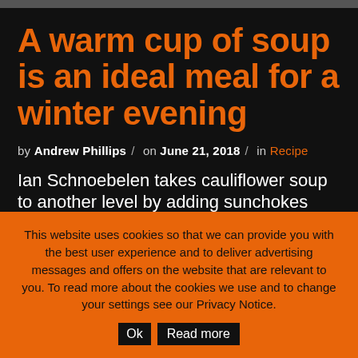A warm cup of soup is an ideal meal for a winter evening
by Andrew Phillips / on June 21, 2018 / in Recipe
Ian Schnoebelen takes cauliflower soup to another level by adding sunchokes (also called Jerusalem
This website uses cookies so that we can provide you with the best user experience and to deliver advertising messages and offers on the website that are relevant to you. To read more about the cookies we use and to change your settings see our Privacy Notice.